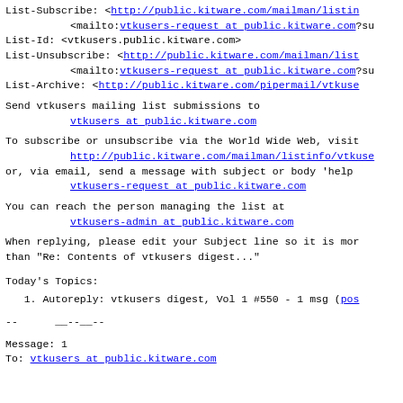List-Subscribe: <http://public.kitware.com/mailman/listin
        <mailto:vtkusers-request at public.kitware.com?su
List-Id: <vtkusers.public.kitware.com>
List-Unsubscribe: <http://public.kitware.com/mailman/list
        <mailto:vtkusers-request at public.kitware.com?su
List-Archive: <http://public.kitware.com/pipermail/vtkuse
Send vtkusers mailing list submissions to
        vtkusers at public.kitware.com
To subscribe or unsubscribe via the World Wide Web, visit
        http://public.kitware.com/mailman/listinfo/vtkuse
or, via email, send a message with subject or body 'help
        vtkusers-request at public.kitware.com
You can reach the person managing the list at
        vtkusers-admin at public.kitware.com
When replying, please edit your Subject line so it is mor
than "Re: Contents of vtkusers digest..."
Today's Topics:
1. Autoreply: vtkusers digest, Vol 1 #550 - 1 msg (pos
--        __--__--
Message: 1
To: vtkusers at public.kitware.com